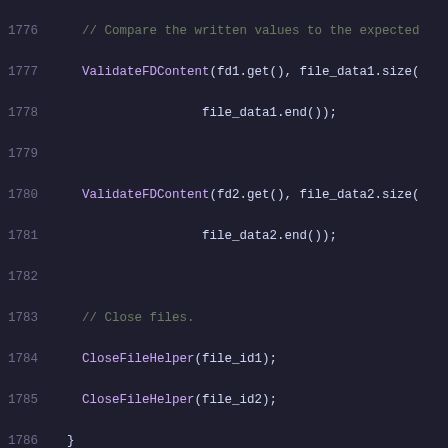Code listing lines 1776-1796: C++ source code with comments, function calls, and test macros for SmbProvider file operations.